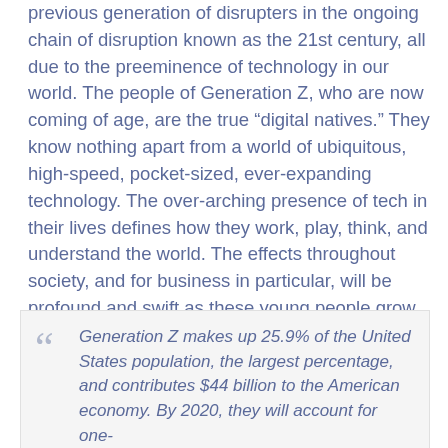previous generation of disrupters in the ongoing chain of disruption known as the 21st century, all due to the preeminence of technology in our world. The people of Generation Z, who are now coming of age, are the true “digital natives.” They know nothing apart from a world of ubiquitous, high-speed, pocket-sized, ever-expanding technology. The over-arching presence of tech in their lives defines how they work, play, think, and understand the world. The effects throughout society, and for business in particular, will be profound and swift as these young people grow into workers, leaders, and influencers.
Generation Z makes up 25.9% of the United States population, the largest percentage, and contributes $44 billion to the American economy. By 2020, they will account for one-